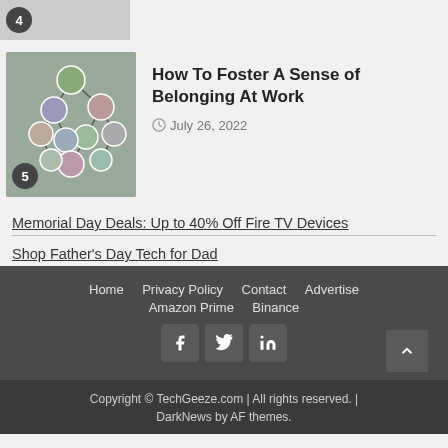[Figure (photo): Top partial image strip showing number 4 badge and partial photo]
[Figure (photo): Thumbnail image of a network graph with circular profile photos connected by lines, with badge number 5]
How To Foster A Sense of Belonging At Work
July 26, 2022
Memorial Day Deals: Up to 40% Off Fire TV Devices
Shop Father's Day Tech for Dad
Home  Privacy Policy  Contact  Advertise  Amazon Prime  Binance
Copyright © TechGeeze.com | All rights reserved. | DarkNews by AF themes.